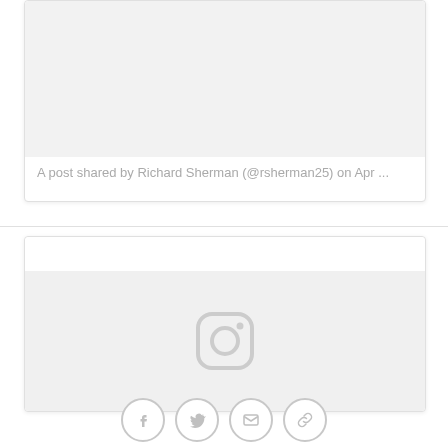[Figure (screenshot): Top social media embed card with a light gray image placeholder area]
A post shared by Richard Sherman (@rsherman25) on Apr ...
[Figure (screenshot): Bottom social media embed card with large light gray image area and Instagram logo icon in center]
[Figure (infographic): Social sharing icon bar with Facebook, Twitter, email, and link icons in circles]